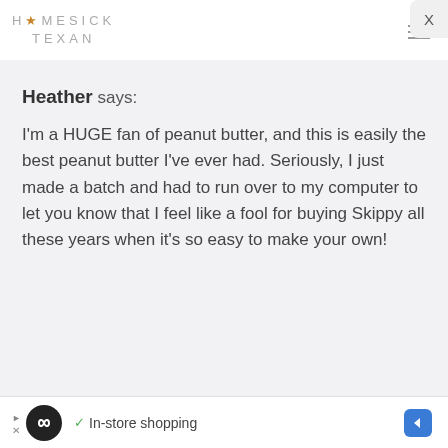HOMESICK TEXAN
Heather says:
I'm a HUGE fan of peanut butter, and this is easily the best peanut butter I've ever had. Seriously, I just made a batch and had to run over to my computer to let you know that I feel like a fool for buying Skippy all these years when it's so easy to make your own!
[Figure (other): Advertisement bar at bottom: circular black icon with infinity symbol, green checkmark, 'In-store shopping' text, blue diamond navigation icon]